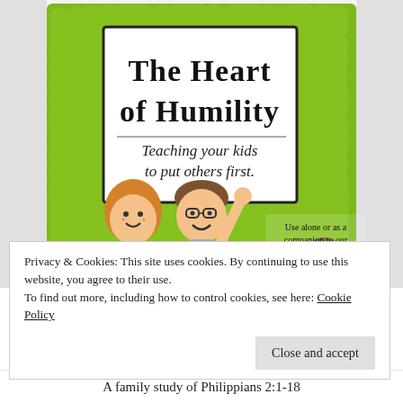[Figure (illustration): Book cover illustration: green scribbled background with cartoon children holding a sign reading 'The Heart of Humility – Teaching your kids to put others first.' Small text in corner: 'Use alone or as a companion to our Write Through the Bible curriculum!']
Privacy & Cookies: This site uses cookies. By continuing to use this website, you agree to their use.
To find out more, including how to control cookies, see here: Cookie Policy
Close and accept
A family study of Philippians 2:1-18